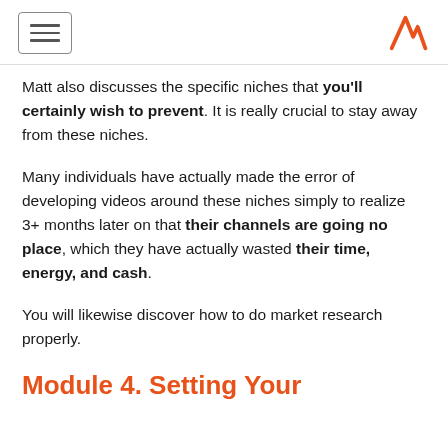[hamburger menu icon] [logo A]
Matt also discusses the specific niches that you'll certainly wish to prevent. It is really crucial to stay away from these niches.
Many individuals have actually made the error of developing videos around these niches simply to realize 3+ months later on that their channels are going no place, which they have actually wasted their time, energy, and cash.
You will likewise discover how to do market research properly.
Module 4. Setting Your